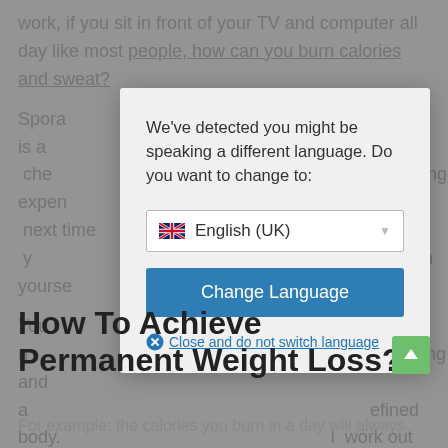work, if you sit in front of your TV and computer all day like most people, how can you burn calories and sweat?
Sporadically... water is a cheaper... buying expensive... next time... entertain yourself...
You need... eating and a... defined body... work out to... don't just do cardio... o and don't l... h.
[Figure (screenshot): Language selection dialog box with message 'We've detected you might be speaking a different language. Do you want to change to:' with English (UK) dropdown and 'Change Language' button and 'Close and do not switch language' link]
How To Achieve Permanent Weight Loss?
For example: the calories you burn in a day will always